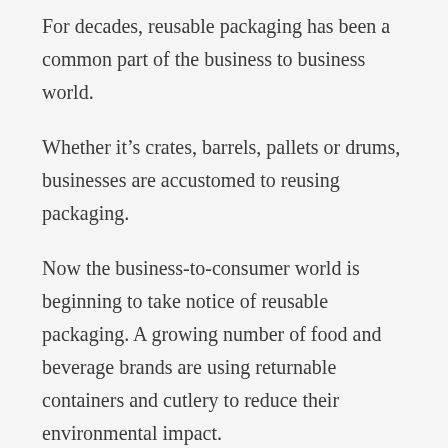For decades, reusable packaging has been a common part of the business to business world.
Whether it’s crates, barrels, pallets or drums, businesses are accustomed to reusing packaging.
Now the business-to-consumer world is beginning to take notice of reusable packaging. A growing number of food and beverage brands are using returnable containers and cutlery to reduce their environmental impact.
CupClub, Globelet, ReCup and CupKita are just a few of the food and beverage brands that are truly taking reusable packaging to heart.